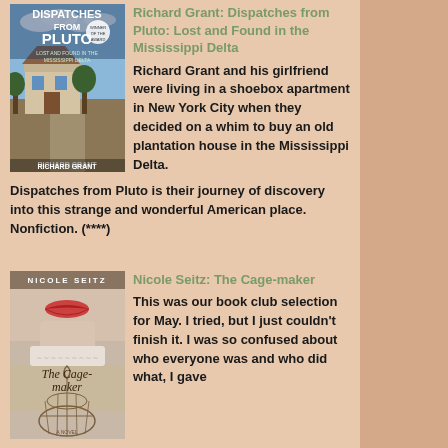[Figure (illustration): Book cover of 'Dispatches from Pluto: Lost and Found in the Mississippi Delta' by Richard Grant. Shows blue sky and a rural scene with a building.]
Richard Grant: Dispatches from Pluto: Lost and Found in the Mississippi Delta
Richard Grant and his girlfriend were living in a shoebox apartment in New York City when they decided on a whim to buy an old plantation house in the Mississippi Delta. Dispatches from Pluto is their journey of discovery into this strange and wonderful American place. Nonfiction. (****)
[Figure (illustration): Book cover of 'The Cage-maker' by Nicole Seitz. Shows a woman's face and lips, with a birdcage at bottom, in soft muted tones.]
Nicole Seitz: The Cage-maker
This was our book club selection for May. I tried, but I just couldn't finish it. I was so confused about who everyone was and who did what, I gave up. That seemed to be the prevailing